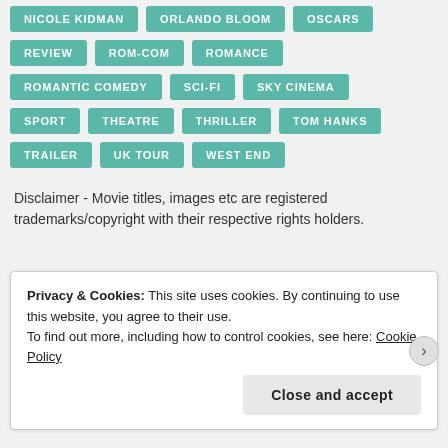NICOLE KIDMAN
ORLANDO BLOOM
OSCARS
REVIEW
ROM-COM
ROMANCE
ROMANTIC COMEDY
SCI-FI
SKY CINEMA
SPORT
THEATRE
THRILLER
TOM HANKS
TRAILER
UK TOUR
WEST END
Disclaimer - Movie titles, images etc are registered trademarks/copyright with their respective rights holders.
Privacy & Cookies: This site uses cookies. By continuing to use this website, you agree to their use.
To find out more, including how to control cookies, see here: Cookie Policy